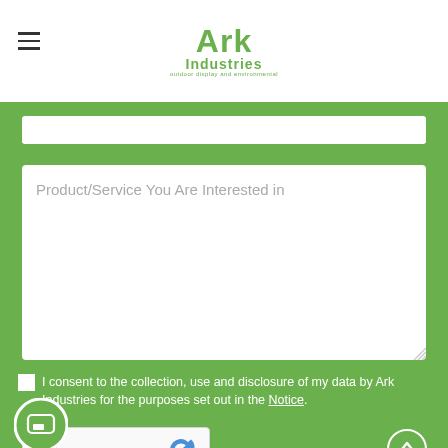Ark Industries
Product/Service You Are Interested in
I consent to the collection, use and disclosure of my data by Ark Industries for the purposes set out in the Notice.
[Figure (screenshot): reCAPTCHA widget with 'I'm not a robot' checkbox and reCAPTCHA logo]
[Figure (other): Scroll to top button (circle with upward chevron)]
[Figure (other): Chat button (green circle with chat icon)]